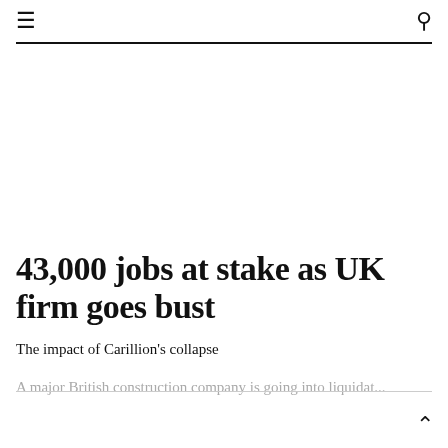≡  🔍
43,000 jobs at stake as UK firm goes bust
The impact of Carillion's collapse
A major British construction company is going into liquidat...